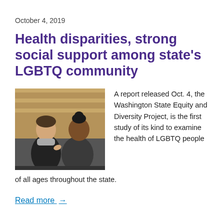October 4, 2019
Health disparities, strong social support among state's LGBTQ community
[Figure (photo): Two people sitting on a bench, conversing. One has short hair and a scarf, the other has a bun hairstyle. They appear to be in discussion.]
A report released Oct. 4, the Washington State Equity and Diversity Project, is the first study of its kind to examine the health of LGBTQ people of all ages throughout the state.
Read more →